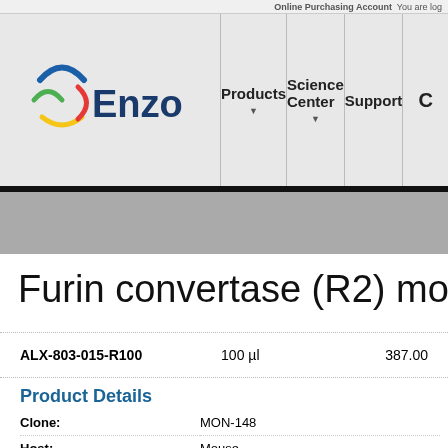Online Purchasing Account  You are log
[Figure (logo): Enzo Life Sciences logo with navigation bar including Products, Science Center, Support menu items]
Furin convertase (R2) mon
| Catalog # | Size | Price |
| --- | --- | --- |
| ALX-803-015-R100 | 100 µl | 387.00 |
Product Details
| Field | Value |
| --- | --- |
| Clone: | MON-148 |
| Host: | Mouse |
| Isotype: | IgG2a |